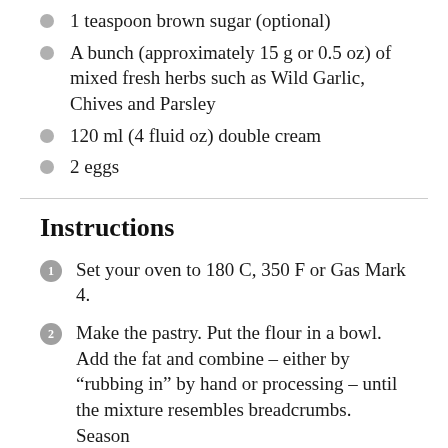1 teaspoon brown sugar (optional)
A bunch (approximately 15 g or 0.5 oz) of mixed fresh herbs such as Wild Garlic, Chives and Parsley
120 ml (4 fluid oz) double cream
2 eggs
Instructions
Set your oven to 180 C, 350 F or Gas Mark 4.
Make the pastry. Put the flour in a bowl.  Add the fat and combine – either by “rubbing in” by hand or processing – until the mixture resembles breadcrumbs. Season